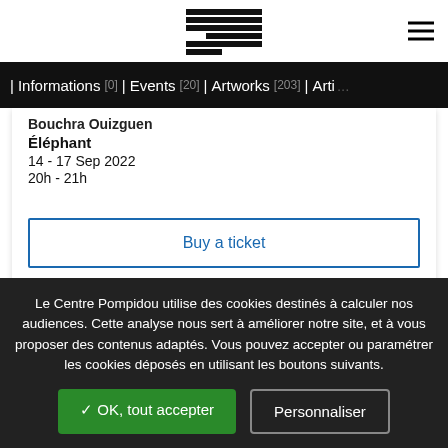[Figure (logo): Centre Pompidou striped geometric logo in black and white]
| Informations [0] | Events [20] | Artworks [203] | Arti...
Bouchra Ouizguen
Éléphant
14 - 17 Sep 2022
20h - 21h
Buy a ticket
Finished
Le Centre Pompidou utilise des cookies destinés à calculer nos audiences. Cette analyse nous sert à améliorer notre site, et à vous proposer des contenus adaptés. Vous pouvez accepter ou paramétrer les cookies déposés en utilisant les boutons suivants.
✓ OK, tout accepter
Personnaliser